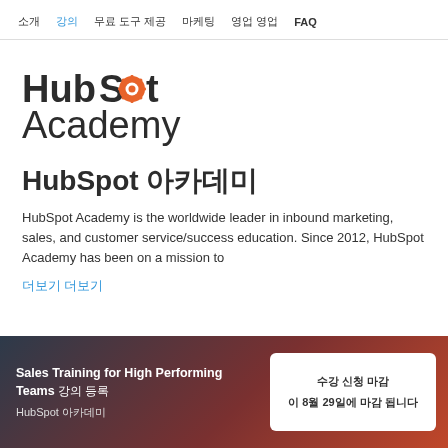소개  강의  무료 도구 제공  마케팅  영업 영업  FAQ
[Figure (logo): HubSpot Academy logo with orange sprocket in the 'o' of HubSpot, and 'Academy' text below]
HubSpot 아카데미
HubSpot Academy is the worldwide leader in inbound marketing, sales, and customer service/success education. Since 2012, HubSpot Academy has been on a mission to
더보기 더보기
Sales Training for High Performing Teams 강의 등록
HubSpot 아카데미
수강 신청 마감
이 8월 29일에 마감 됩니다